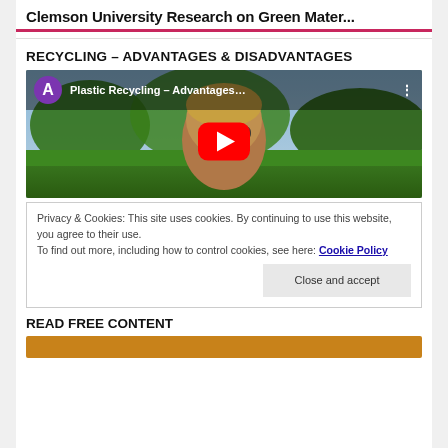Clemson University Research on Green Mater...
RECYCLING – ADVANTAGES & DISADVANTAGES
[Figure (screenshot): YouTube video thumbnail showing a person wearing sunglasses with a garden background. Video title: 'Plastic Recycling – Advantages...' with a purple avatar showing 'A'. Red YouTube play button in center.]
Privacy & Cookies: This site uses cookies. By continuing to use this website, you agree to their use.
To find out more, including how to control cookies, see here: Cookie Policy
Close and accept
READ FREE CONTENT
[Figure (screenshot): Bottom partial thumbnail with orange/brown background, partially visible.]